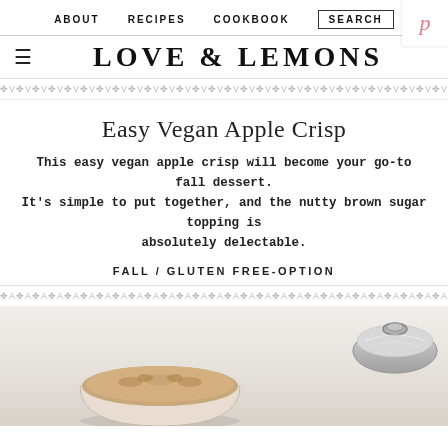ABOUT  RECIPES  COOKBOOK  SEARCH
LOVE & LEMONS
✦V✦V✦V✦V✦V✦V✦V✦V✦V✦V✦V✦V✦V✦V✦V✦V✦V✦V✦V✦V
Easy Vegan Apple Crisp
This easy vegan apple crisp will become your go-to fall dessert. It's simple to put together, and the nutty brown sugar topping is absolutely delectable.
FALL / GLUTEN FREE-OPTION
✦A✦A✦A✦A✦A✦A✦A✦A✦A✦A✦A✦A✦A✦A✦A✦A✦A✦A✦A✦A
[Figure (photo): Partial view of a vegan apple crisp dish with a stainless steel pot lid visible on the right and a bowl of apple crisp at the bottom center]